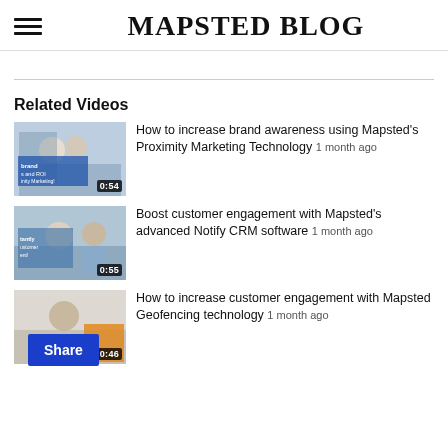MAPSTED BLOG
Related Videos
[Figure (screenshot): Thumbnail for video: How to increase brand awareness using Mapsted's Proximity Marketing Technology, duration 0:54]
How to increase brand awareness using Mapsted's Proximity Marketing Technology 1 month ago
[Figure (screenshot): Thumbnail for video: Boost customer engagement with Mapsted's advanced Notify CRM software, duration 0:55]
Boost customer engagement with Mapsted's advanced Notify CRM software 1 month ago
[Figure (screenshot): Thumbnail for video: How to increase customer engagement with Mapsted Geofencing technology, duration 0:46]
How to increase customer engagement with Mapsted Geofencing technology 1 month ago